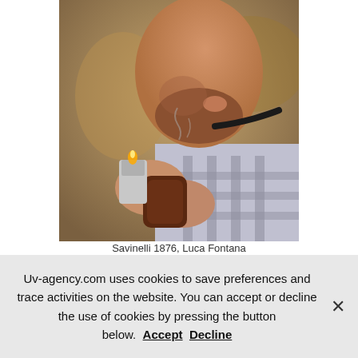[Figure (photo): A bearded man lighting a tobacco pipe with a lighter, wearing a plaid shirt, photographed outdoors in soft focus background.]
Savinelli 1876, Luca Fontana photographed in Lombardy, April 17
Uv-agency.com uses cookies to save preferences and trace activities on the website. You can accept or decline the use of cookies by pressing the button below. Accept Decline